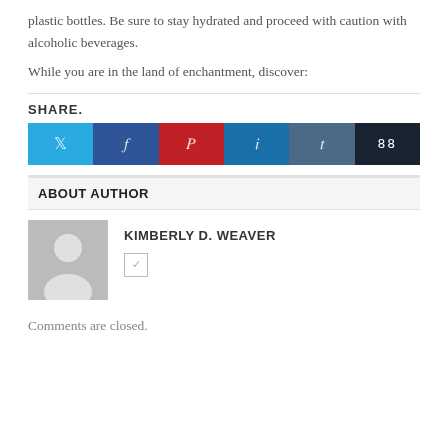plastic bottles. Be sure to stay hydrated and proceed with caution with alcoholic beverages.
While you are in the land of enchantment, discover:
SHARE.
[Figure (other): Social share buttons: Twitter (light blue), Facebook (dark blue), Pinterest (red), LinkedIn (medium blue), Tumblr (slate blue), Share (dark/black) with icons]
ABOUT AUTHOR
[Figure (photo): Generic author avatar placeholder image showing a silhouette of a person on grey background]
KIMBERLY D. WEAVER
Comments are closed.